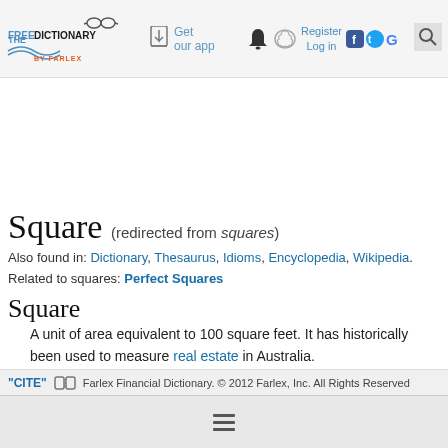The Free Dictionary by Farlex — Get our app — Register Log in
Square (redirected from squares)
Also found in: Dictionary, Thesaurus, Idioms, Encyclopedia, Wikipedia.
Related to squares: Perfect Squares
Square
A unit of area equivalent to 100 square feet. It has historically been used to measure real estate in Australia.
"CITE" Farlex Financial Dictionary. © 2012 Farlex, Inc. All Rights Reserved